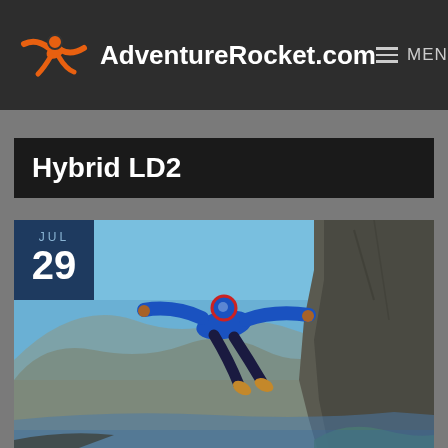AdventureRocket.com  MENU
Hybrid LD2
[Figure (photo): A person in a blue wingsuit leaping off a cliff edge in a mountainous Norwegian fjord landscape. Blue sky, steep rocky cliffs, and a fjord far below. Date badge shows JUL 29.]